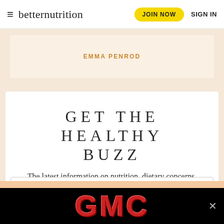≡ betternutrition   JOIN NOW   SIGN IN
EMMA PENROD
GET THE HEALTHY BUZZ
The latest information on nutrition, dietary concerns, supplements, herbs, aromatherapy, and more.
[Figure (screenshot): GMC advertisement banner with red chrome-style letters on black background with close button]